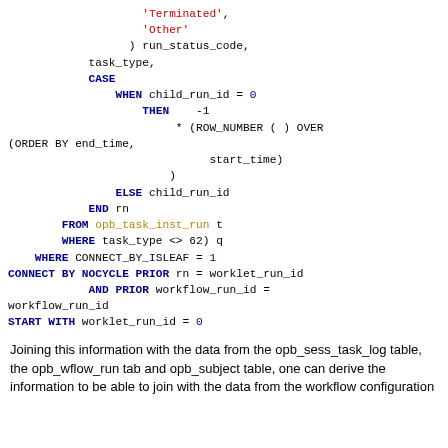[Figure (screenshot): SQL code snippet showing CASE WHEN logic with ROW_NUMBER window function, FROM opb_task_inst_run, WHERE clauses, CONNECT BY NOCYCLE, and START WITH conditions]
Joining this information with the data from the opb_sess_task_log table, the opb_wflow_run tab and opb_subject table, one can derive the information to be able to join with the data from the workflow configuration